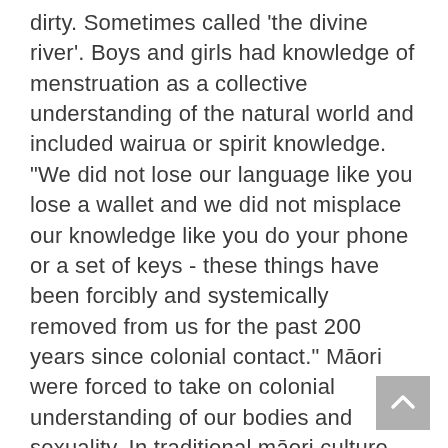dirty. Sometimes called 'the divine river'. Boys and girls had knowledge of menstruation as a collective understanding of the natural world and included wairua or spirit knowledge. "We did not lose our language like you lose a wallet and we did not misplace our knowledge like you do your phone or a set of keys - these things have been forcibly and systemically removed from us for the past 200 years since colonial contact." Māori were forced to take on colonial understanding of our bodies and sexuality. In traditional māori culture, we become parents as a part of a wider community - māori children were raised to not only have 2 parents, but 100 parents (kia matuarautia ngā tamariki) Every adult is a parent.